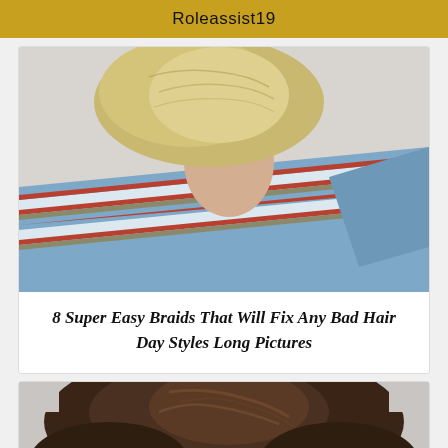Roleassist19
[Figure (photo): Back view of a blonde woman with hair up, wearing a blue and white striped shirt with red and olive stripes]
8 Super Easy Braids That Will Fix Any Bad Hair Day Styles Long Pictures
[Figure (photo): Back view of a brunette woman showing her hair from behind against a light background]